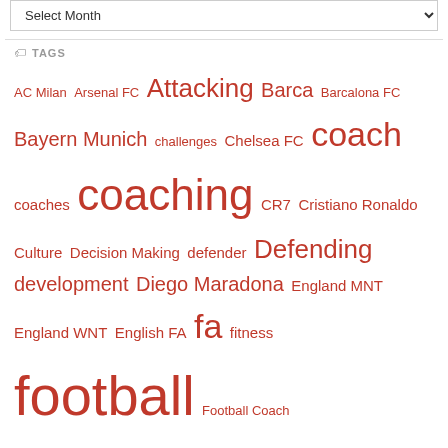Select Month (dropdown)
TAGS
AC Milan Arsenal FC Attacking Barca Barcalona FC Bayern Munich challenges Chelsea FC coach coaches coaching CR7 Cristiano Ronaldo Culture Decision Making defender Defending development Diego Maradona England MNT England WNT English FA fa fitness football Football Coach footballer GK goalkeeper Goalkeeper's Edition Goalkeeping grassroots Inter Milan Juventus learn Learning LFC Liverpool FC Manchester City FC Manchester United FC Maradona Messi Mindset Nike Nkwocha Passing play player Player Development